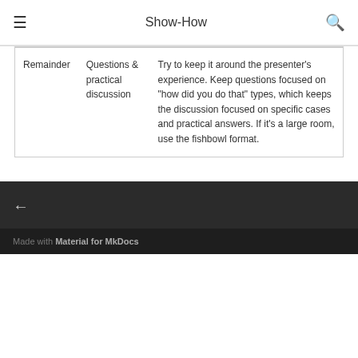Show-How
| Remainder | Questions & practical discussion | Try to keep it around the presenter's experience. Keep questions focused on "how did you do that" types, which keeps the discussion focused on specific cases and practical answers. If it's a large room, use the fishbowl format. |
← Made with Material for MkDocs